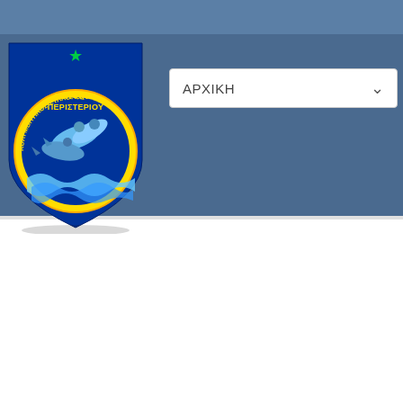[Figure (logo): Δελφίνια Περιστερίου swimming club logo - blue shield shape with yellow circular emblem showing dolphins jumping over waves, Greek text 'ΔΕΛΦΙΝΙΑ ΠΕΡΙΣΤΕΡΙΟΥ' in yellow at top and 'ΚΟΛΥΜΒΗΤΙΚΟΣ ΣΥΛΛΟΓΟΣ' around the circle, green star at top]
ΑΡΧΙΚΗ